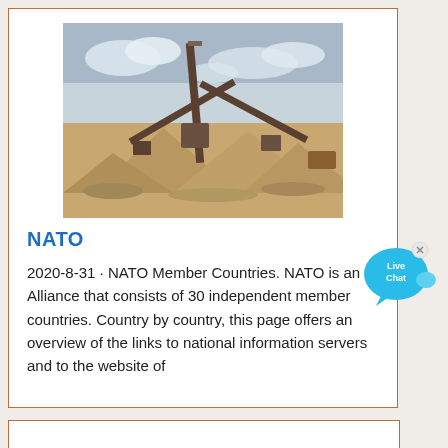[Figure (photo): Quarry or mining site with conveyor belts, industrial equipment, and large piles of sand/gravel under a cloudy sky.]
NATO
2020-8-31 · NATO Member Countries. NATO is an Alliance that consists of 30 independent member countries. Country by country, this page offers an overview of the links to national information servers and to the website of
[Figure (illustration): Live Chat speech bubble widget in blue with an 'x' close button.]